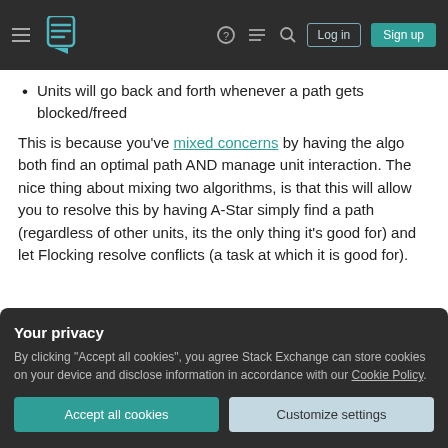Stack Exchange navigation header with hamburger menu, logo, help, chat, search icons, Log in and Sign up buttons
Units will go back and forth whenever a path gets blocked/freed
This is because you've mixed concerns by having the algo both find an optimal path AND manage unit interaction. The nice thing about mixing two algorithms, is that this will allow you to resolve this by having A-Star simply find a path (regardless of other units, its the only thing it's good for) and let Flocking resolve conflicts (a task at which it is good for).
Your privacy
By clicking "Accept all cookies", you agree Stack Exchange can store cookies on your device and disclose information in accordance with our Cookie Policy.
Accept all cookies
Customize settings